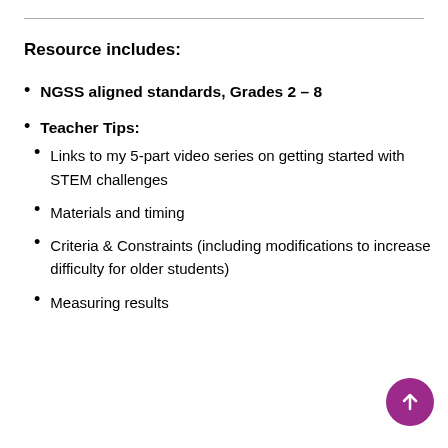Resource includes:
NGSS aligned standards, Grades 2 – 8
Teacher Tips:
Links to my 5-part video series on getting started with STEM challenges
Materials and timing
Criteria & Constraints (including modifications to increase difficulty for older students)
Measuring results